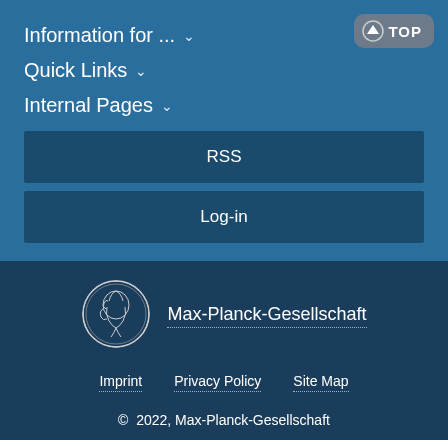Information for ... ∨
Quick Links ∨
Internal Pages ∨
RSS
Log-in
[Figure (logo): Max-Planck-Gesellschaft circular medallion logo with female profile]
Max-Planck-Gesellschaft
Imprint    Privacy Policy    Site Map
© 2022, Max-Planck-Gesellschaft